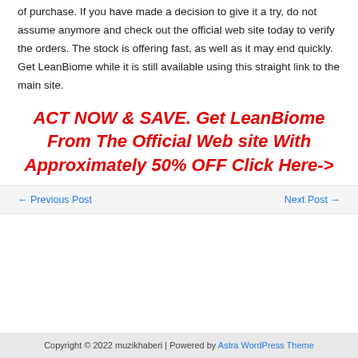of purchase. If you have made a decision to give it a try, do not assume anymore and check out the official web site today to verify the orders. The stock is offering fast, as well as it may end quickly. Get LeanBiome while it is still available using this straight link to the main site.
ACT NOW & SAVE. Get LeanBiome From The Official Web site With Approximately 50% OFF Click Here->
← Previous Post
Next Post →
Copyright © 2022 muzikhaberi | Powered by Astra WordPress Theme